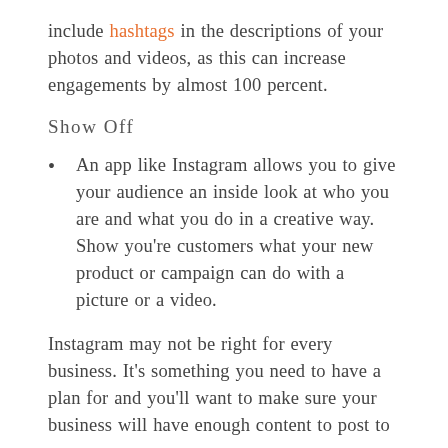include hashtags in the descriptions of your photos and videos, as this can increase engagements by almost 100 percent.
Show Off
An app like Instagram allows you to give your audience an inside look at who you are and what you do in a creative way. Show you're customers what your new product or campaign can do with a picture or a video.
Instagram may not be right for every business. It's something you need to have a plan for and you'll want to make sure your business will have enough content to post to